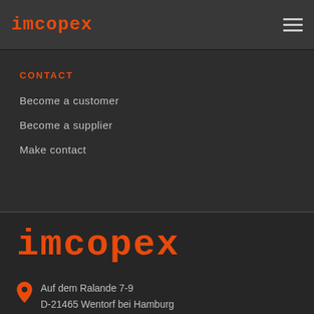imcopex
CONTACT
Become a customer
Become a supplier
Make contact
[Figure (logo): imcopex logo in orange on dark background, large size]
Auf dem Ralande 7-9
D-21465 Wentorf bei Hamburg
Germany